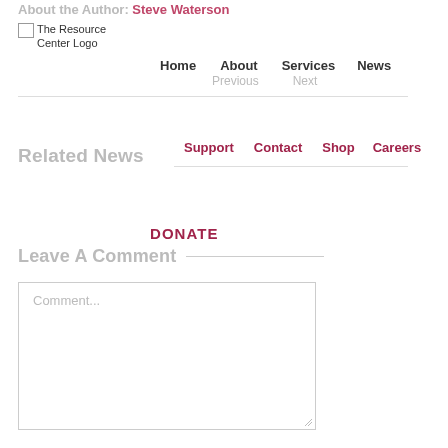About the Author: Steve Waterson
[Figure (logo): The Resource Center Logo placeholder image]
Home  About  Services  News
Previous  Next
Related News
Support  Contact  Shop  Careers
DONATE
Leave A Comment
Comment...